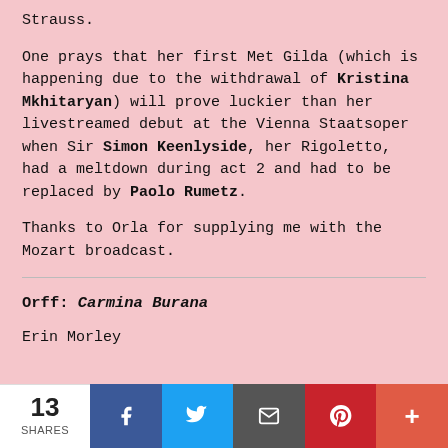Strauss.
One prays that her first Met Gilda (which is happening due to the withdrawal of Kristina Mkhitaryan) will prove luckier than her livestreamed debut at the Vienna Staatsoper when Sir Simon Keenlyside, her Rigoletto, had a meltdown during act 2 and had to be replaced by Paolo Rumetz.
Thanks to Orla for supplying me with the Mozart broadcast.
Orff: Carmina Burana
Erin Morley
13 SHARES | Facebook | Twitter | Email | Pinterest | More